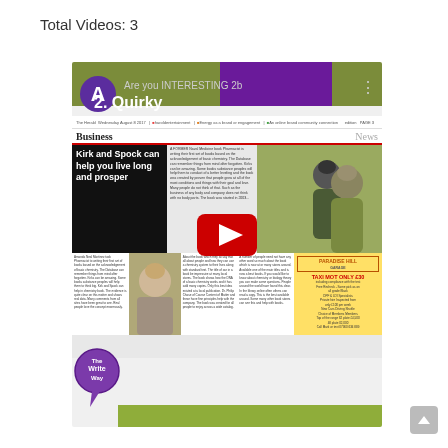Total Videos: 3
[Figure (screenshot): YouTube video thumbnail showing a newspaper article 'Kirk and Spock can help you live long and prosper' with a YouTube play button overlay. Video title reads 'Are you INTERESTING 2b' with subtitle '2. Quirky'. Channel icon shows letter A in purple circle.]